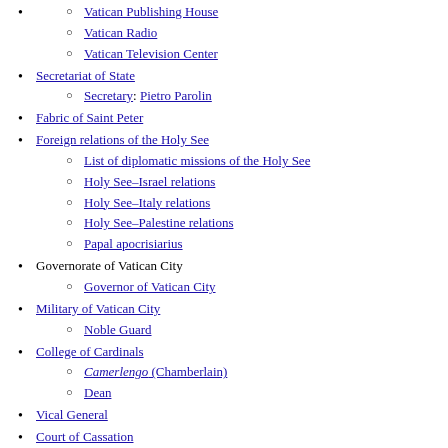Vatican Publishing House
Vatican Radio
Vatican Television Center
Secretariat of State
Secretary: Pietro Parolin
Fabric of Saint Peter
Foreign relations of the Holy See
List of diplomatic missions of the Holy See
Holy See–Israel relations
Holy See–Italy relations
Holy See–Palestine relations
Papal apocrisiarius
Governorate of Vatican City
Governor of Vatican City
Military of Vatican City
Noble Guard
College of Cardinals
Camerlengo (Chamberlain)
Dean
Vical General
Court of Cassation
President: Dominique Mamberti
Court of Appeals